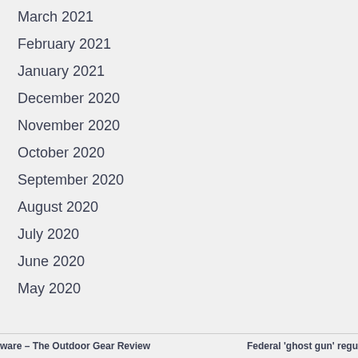March 2021
February 2021
January 2021
December 2020
November 2020
October 2020
September 2020
August 2020
July 2020
June 2020
May 2020
ware – The Outdoor Gear Review       Federal 'ghost gun' regu